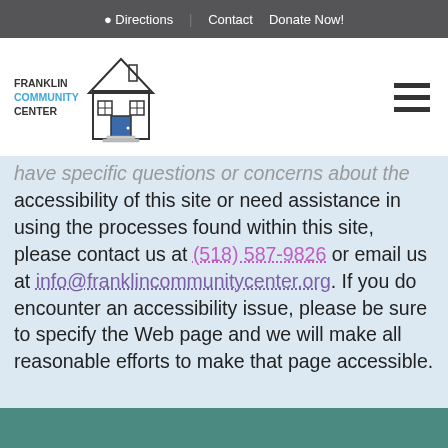Directions | Contact Donate Now!
[Figure (logo): Franklin Community Center logo with house illustration and text]
have specific questions or concerns about the accessibility of this site or need assistance in using the processes found within this site, please contact us at (518) 587-9826 or email us at info@franklincommunitycenter.org. If you do encounter an accessibility issue, please be sure to specify the Web page and we will make all reasonable efforts to make that page accessible.